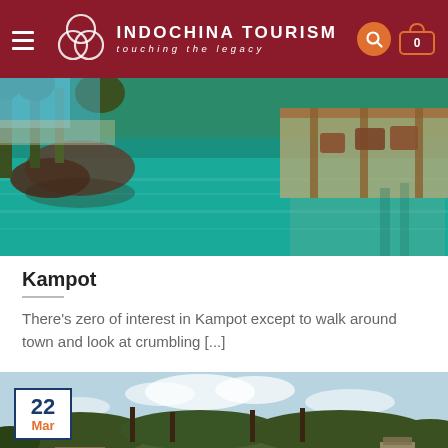INDOCHINA TOURISM touching the legacy
[Figure (photo): Infinity pool with turquoise water surrounded by tropical trees, with a wooden pavilion and lounge chairs in the background near a beach]
Kampot
There's zero of interest in Kampot except to walk around town and look at crumbling [...]
[Figure (photo): Rural tropical landscape with wooden stilt houses among dense palm trees and lush greenery under a partly cloudy sky, with a date badge showing 22 Mar]